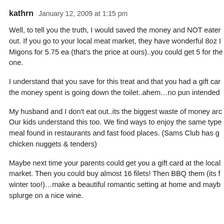kathrn   January 12, 2009 at 1:15 pm
Well, to tell you the truth, I would saved the money and NOT eaten out. If you go to your local meat market, they have wonderful 8oz Migons for 5.75 ea (that's the price at ours)..you could get 5 for the one.
I understand that you save for this treat and that you had a gift car the money spent is going down the toilet..ahem…no pun intended
My husband and I don't eat out..its the biggest waste of money aro Our kids understand this too. We find ways to enjoy the same type meal found in restaurants and fast food places. (Sams Club has gr chicken nuggets & tenders)
Maybe next time your parents could get you a gift card at the local market. Then you could buy almost 16 filets! Then BBQ them (its f winter too!)…make a beautiful romantic setting at home and mayb splurge on a nice wine.